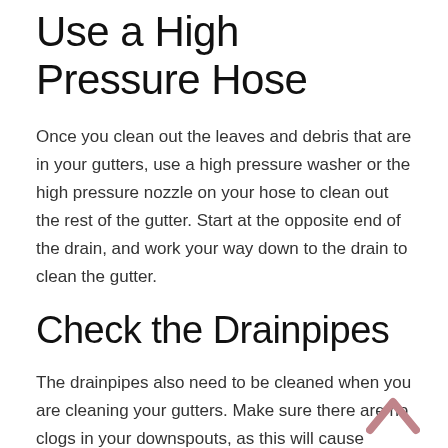Use a High Pressure Hose
Once you clean out the leaves and debris that are in your gutters, use a high pressure washer or the high pressure nozzle on your hose to clean out the rest of the gutter. Start at the opposite end of the drain, and work your way down to the drain to clean the gutter.
Check the Drainpipes
The drainpipes also need to be cleaned when you are cleaning your gutters. Make sure there are no clogs in your downspouts, as this will cause problems with your gutters. Remove the downspout if possible, and clean it out using a